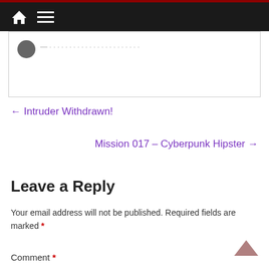Navigation bar with home and menu icons
[Figure (screenshot): Partial comment box with avatar icon and faded text]
← Intruder Withdrawn!
Mission 017 – Cyberpunk Hipster →
Leave a Reply
Your email address will not be published. Required fields are marked *
Comment *